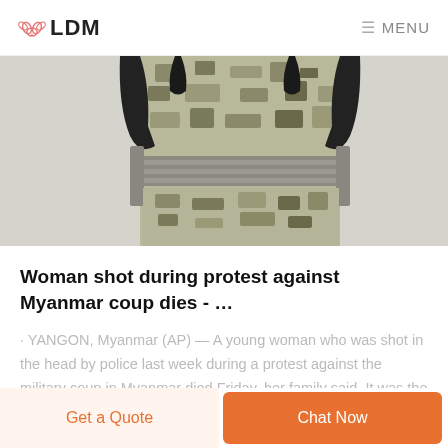LDM  MENU
[Figure (photo): Close-up photo of a military/tactical camouflage vest with black buckles and straps, digital camouflage pattern]
Woman shot during protest against Myanmar coup dies - …
· YANGON, Myanmar (AP) — A young woman who was shot in the head by police last week during a protest against the military coup in Myanmar died Friday, her family said. It was the first confirmed